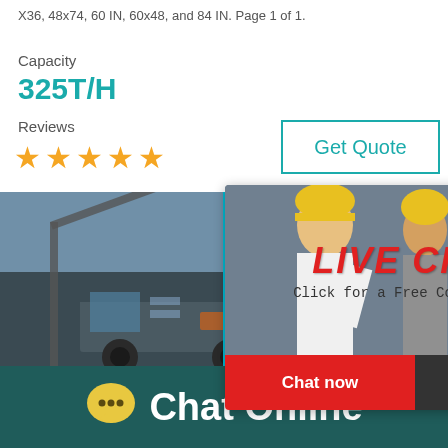X36, 48x74, 60 IN, 60x48, and 84 IN. Page 1 of 1.
Capacity
325T/H
Reviews
[Figure (infographic): Five orange star rating icons]
[Figure (other): Get Quote button with teal border]
[Figure (photo): Machinery/crusher equipment photo]
[Figure (infographic): Live Chat popup overlay with workers in hard hats, LIVE CHAT text in red italic, 'Click for a Free Consultation' subtitle, red Chat now button and dark Chat later button]
[Figure (infographic): Right sidebar with teal background showing 'best state for you!' text, gauge with smiley faces, and Click me to chat button]
Enquiry
[Figure (infographic): Bottom banner with dark teal background, yellow chat bubble icon, and Chat Online text in white]